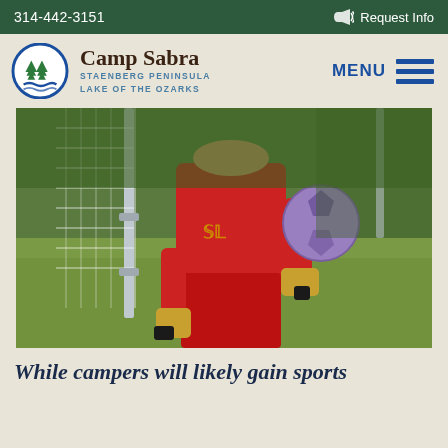314-442-3151   Request Info
Camp Sabra
STAENBERG PENINSULA
LAKE OF THE OZARKS
[Figure (photo): Youth soccer goalkeeper in red uniform holding a soccer ball beside a goal net, standing on a grassy field]
While campers will likely gain sports